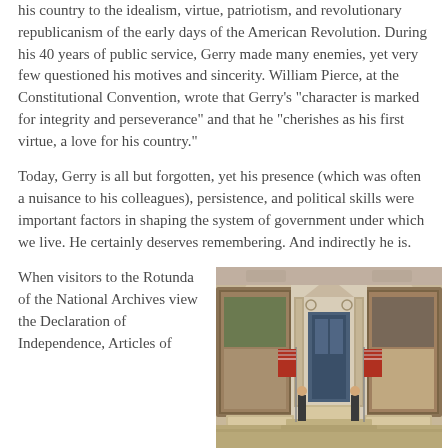his country to the idealism, virtue, patriotism, and revolutionary republicanism of the early days of the American Revolution. During his 40 years of public service, Gerry made many enemies, yet very few questioned his motives and sincerity. William Pierce, at the Constitutional Convention, wrote that Gerry's "character is marked for integrity and perseverance" and that he "cherishes as his first virtue, a love for his country."
Today, Gerry is all but forgotten, yet his presence (which was often a nuisance to his colleagues), persistence, and political skills were important factors in shaping the system of government under which we live. He certainly deserves remembering. And indirectly he is.
When visitors to the Rotunda of the National Archives view the Declaration of Independence, Articles of
[Figure (photo): Interior of the Rotunda of the National Archives building, showing the grand hall with large murals on the walls, a central doorway with a pediment, American flags, display cases, and two guards standing at attention.]